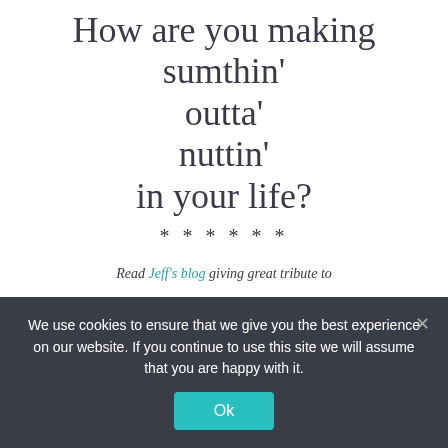How are you making sumthin' outta' nuttin' in your life?
* * * * * *
Read Jeff's blog giving great tribute to Florence and Lewellyn Tewksbury, of Box T Bible and Saddle Camp.
We use cookies to ensure that we give you the best experience on our website. If you continue to use this site we will assume that you are happy with it.